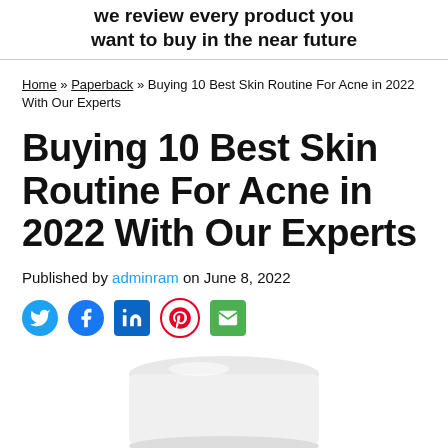we review every product you want to buy in the near future
Home » Paperback » Buying 10 Best Skin Routine For Acne in 2022 With Our Experts
Buying 10 Best Skin Routine For Acne in 2022 With Our Experts
Published by adminram on June 8, 2022
[Figure (photo): Social sharing icons: Twitter, Facebook, LinkedIn, Pinterest, Email]
[Figure (photo): Product image of a white skincare cream/moisturizer jar, partially visible at the bottom of the page]